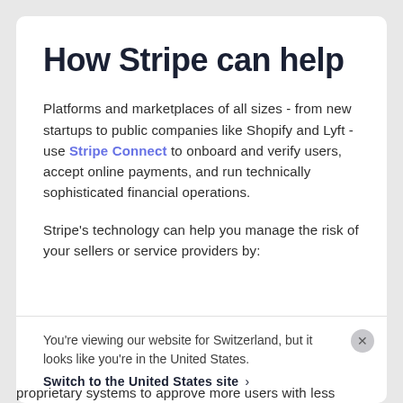How Stripe can help
Platforms and marketplaces of all sizes - from new startups to public companies like Shopify and Lyft - use Stripe Connect to onboard and verify users, accept online payments, and run technically sophisticated financial operations.
Stripe's technology can help you manage the risk of your sellers or service providers by:
You're viewing our website for Switzerland, but it looks like you're in the United States.
Switch to the United States site ›
proprietary systems to approve more users with less